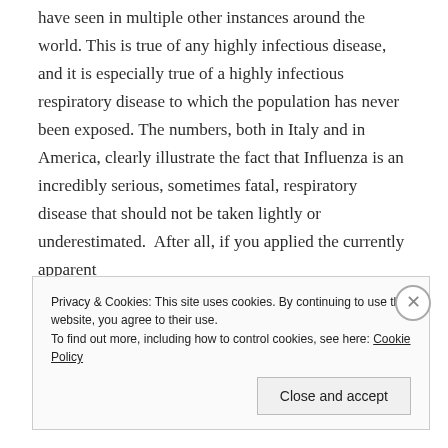have seen in multiple other instances around the world. This is true of any highly infectious disease, and it is especially true of a highly infectious respiratory disease to which the population has never been exposed. The numbers, both in Italy and in America, clearly illustrate the fact that Influenza is an incredibly serious, sometimes fatal, respiratory disease that should not be taken lightly or underestimated.  After all, if you applied the currently apparent
The numbers for COVID-19, often gathered from the same sources as the numbers for influenza, just as
Privacy & Cookies: This site uses cookies. By continuing to use this website, you agree to their use.
To find out more, including how to control cookies, see here: Cookie Policy

Close and accept